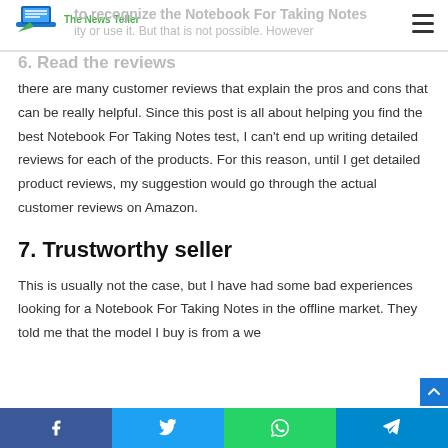The News Teller
6. Read the reviews
to recognize the Notebook For Taking Notes and try or use it. But that is not possible. However, there are many customer reviews that explain the pros and cons that can be really helpful. Since this post is all about helping you find the best Notebook For Taking Notes test, I can't end up writing detailed reviews for each of the products. For this reason, until I get detailed product reviews, my suggestion would go through the actual customer reviews on Amazon.
7. Trustworthy seller
This is usually not the case, but I have had some bad experiences looking for a Notebook For Taking Notes in the offline market. They told me that the model I buy is from a we
f  t  (whatsapp icon)  (telegram icon)